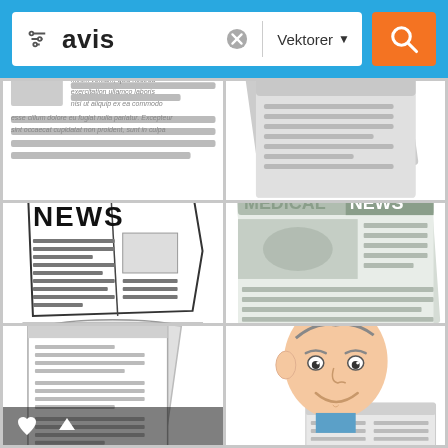[Figure (screenshot): Search interface bar with filter icon, text input showing 'avis', clear button, 'Vektorer' dropdown, and orange search button]
[Figure (illustration): Newspaper illustration with Lorem Ipsum style text and a small grey rectangle placeholder image on the left]
[Figure (illustration): Folded newspaper illustration in grey tones showing text lines]
[Figure (illustration): Hand-drawn sketch of a newspaper with 'NEWS' headline, article text lines, and a rolled newspaper below]
[Figure (illustration): Flat-style newspaper illustration labeled 'MEDICAL NEWS' with grey tones and column lines]
[Figure (illustration): Sketch-style illustration of two newspapers/documents stacked]
[Figure (illustration): Cartoon illustration of an elderly man reading a newspaper]